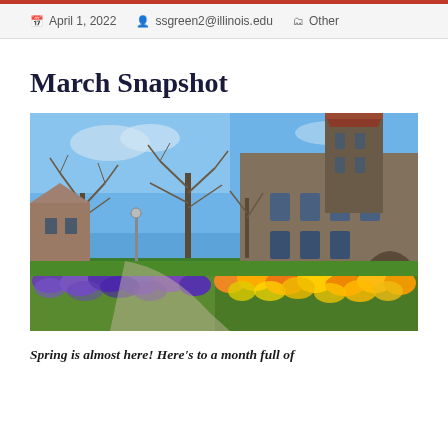April 1, 2022   ssgreen2@illinois.edu   Other
March Snapshot
[Figure (photo): Campus photo showing a historic stone building with a red-roofed tower, bare spring trees, green lawn, and colorful flower beds with purple and orange/yellow blooms in the foreground under a blue sky.]
Spring is almost here! Here's to a month full of